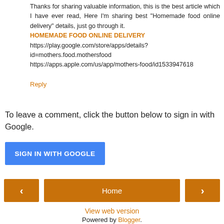Thanks for sharing valuable information, this is the best article which I have ever read, Here I'm sharing best "Homemade food online delivery" details, just go through it. HOMEMADE FOOD ONLINE DELIVERY https://play.google.com/store/apps/details?id=mothers.food.mothersfood https://apps.apple.com/us/app/mothers-food/id1533947618
Reply
To leave a comment, click the button below to sign in with Google.
SIGN IN WITH GOOGLE
Home
View web version
Powered by Blogger.